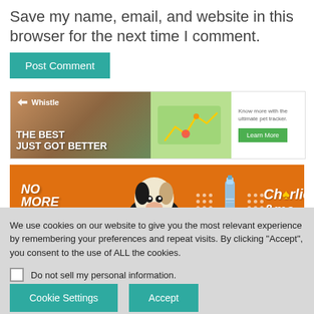Save my name, email, and website in this browser for the next time I comment.
Post Comment
[Figure (illustration): Whistle pet tracker advertisement banner showing a dog, a map with tracking route, and the text 'THE BEST JUST GOT BETTER' with a 'Learn More' button]
[Figure (illustration): Charlie & Me advertisement banner with orange background showing a Cavalier King Charles Spaniel dog, a spray bottle product, dot patterns, and text 'NO MORE CHEWING' with Charlie & Me logo]
We use cookies on our website to give you the most relevant experience by remembering your preferences and repeat visits. By clicking “Accept”, you consent to the use of ALL the cookies.
Do not sell my personal information.
Cookie Settings
Accept